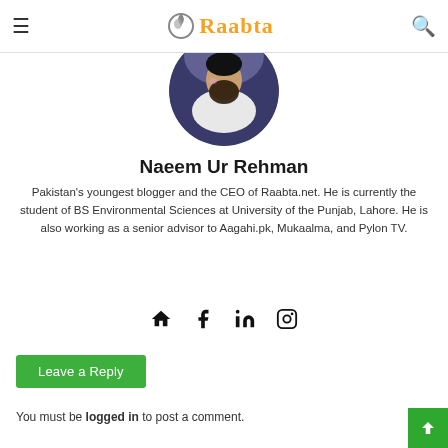Raabta
[Figure (photo): Circular profile photo of Naeem Ur Rehman, a man with a beard wearing white clothing]
Naeem Ur Rehman
Pakistan's youngest blogger and the CEO of Raabta.net. He is currently the student of BS Environmental Sciences at University of the Punjab, Lahore. He is also working as a senior advisor to Aagahi.pk, Mukaalma, and Pylon TV.
[Figure (infographic): Social media icons: home, facebook, linkedin, instagram]
Leave a Reply
You must be logged in to post a comment.